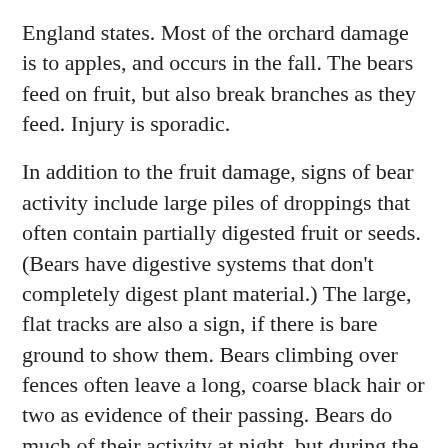England states.  Most of the orchard damage is to apples, and occurs in the fall.  The bears feed on fruit, but also break branches as they feed.  Injury is sporadic.
In addition to the fruit damage, signs of bear activity include large piles of droppings that often contain partially digested fruit or seeds. (Bears have digestive systems that don't completely digest plant material.) The large, flat tracks are also a sign, if there is bare ground to show them.  Bears climbing over fences often leave a long, coarse black hair or two as evidence of their passing. Bears do much of their activity at night, but during the fall they are actively fattening up for winter, and do a lot of daytime feeding. Increasingly, many New England bears become habituated to feed around human dwellings (on garbage and bird seed for example) and this pattern may be difficult to break.
Electric fencing can keep bears out of an orchard, just as it protects bee hives.  Other fencing does not work well